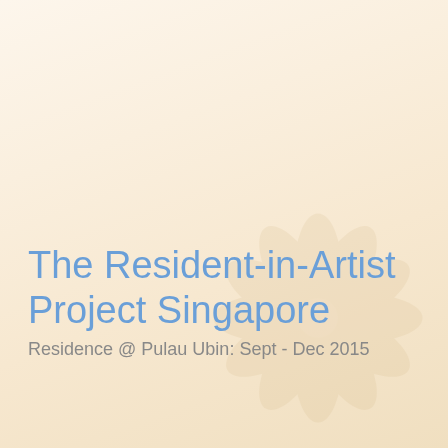The Resident-in-Artist Project Singapore
Residence @ Pulau Ubin: Sept - Dec 2015